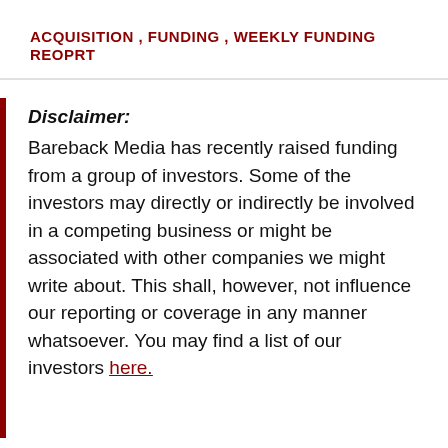ACQUISITION , FUNDING , WEEKLY FUNDING REOPRT
Disclaimer:
Bareback Media has recently raised funding from a group of investors. Some of the investors may directly or indirectly be involved in a competing business or might be associated with other companies we might write about. This shall, however, not influence our reporting or coverage in any manner whatsoever. You may find a list of our investors here.